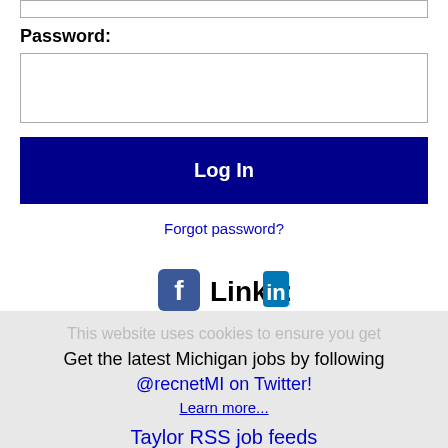(input box top)
Password:
(password input box)
Log In
Forgot password?
[Figure (logo): Facebook and LinkedIn logos side by side]
This website uses cookies to ensure you get
Get the latest Michigan jobs by following @recnetMI on Twitter!
Learn more...
Taylor RSS job feeds
Got It!